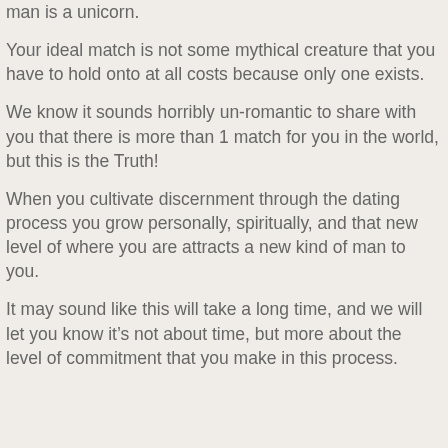man is a unicorn.
Your ideal match is not some mythical creature that you have to hold onto at all costs because only one exists.
We know it sounds horribly un-romantic to share with you that there is more than 1 match for you in the world, but this is the Truth!
When you cultivate discernment through the dating process you grow personally, spiritually, and that new level of where you are attracts a new kind of man to you.
It may sound like this will take a long time, and we will let you know it’s not about time, but more about the level of commitment that you make in this process.